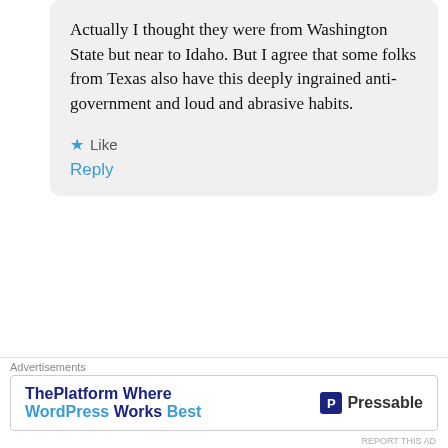Actually I thought they were from Washington State but near to Idaho. But I agree that some folks from Texas also have this deeply ingrained anti-government and loud and abrasive habits.
Like
Reply
[Figure (illustration): Green diamond-pattern avatar icon for user karenkay7716]
karenkay7716
March 19, 2021 at 5:52 pm
I'm not sure how reliable the
Advertisements
ThePlatform Where WordPress Works Best   Pressable